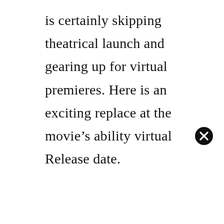is certainly skipping theatrical launch and gearing up for virtual premieres. Here is an exciting replace at the movie’s ability virtual Release date.
[Figure (other): A circular close/dismiss button icon with an X symbol, black background with white X]